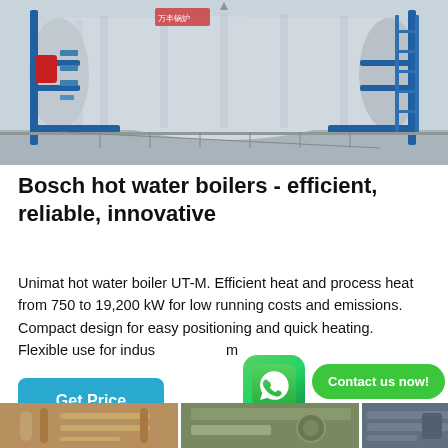[Figure (photo): Industrial Bosch Unimat hot water boiler UT-M unit in a facility, large cylindrical silver/metallic tank with blue metal scaffolding/frame and ladder, pipes and connections visible, Chinese manufacturer logo in upper left.]
Bosch hot water boilers - efficient, reliable, innovative
Unimat hot water boiler UT-M. Efficient heat and process heat from 750 to 19,200 kW for low running costs and emissions. Compact design for easy positioning and quick heating. Flexible use for industrial and commercial applications.
[Figure (logo): WhatsApp button icon - green rounded square with white phone handset logo]
Contact us now!
Get Price
[Figure (photo): Three smaller industrial boiler/pipe images at the bottom of the page in a row.]